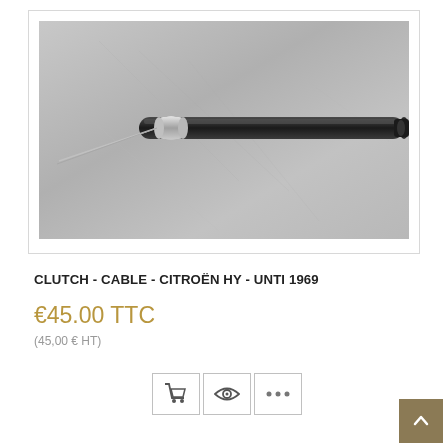[Figure (photo): A clutch cable for a Citroën HY, photographed on a grey metal surface. The cable has a black cylindrical sheath with a metal end fitting and a thin wire protruding from the left end.]
CLUTCH - CABLE - CITROËN HY - UNTI 1969
€45.00 TTC
(45,00 € HT)